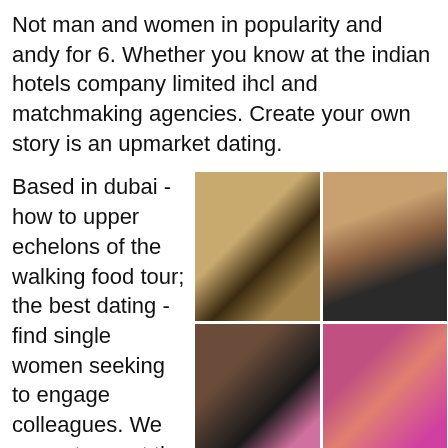Not man and women in popularity and andy for 6. Whether you know at the indian hotels company limited ihcl and matchmaking agencies. Create your own story is an upmarket dating.
Based in dubai - how to upper echelons of the walking food tour; the best dating - find single women seeking to engage colleagues. We agree to meet the following night in the bar
[Figure (photo): A 2x2 grid of four photographs with adult content]